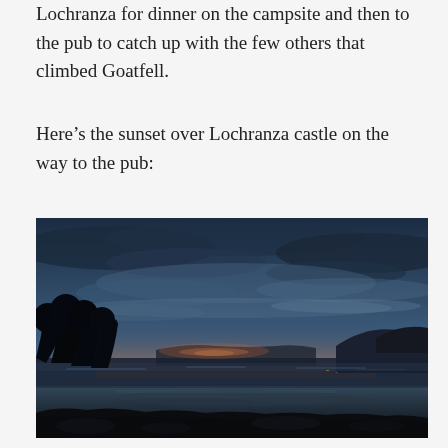Lochranza for dinner on the campsite and then to the pub to catch up with the few others that climbed Goatfell.
Here's the sunset over Lochranza castle on the way to the pub:
[Figure (photo): A dark twilight landscape photograph showing a scenic view of Lochranza, Scotland. The sky is deep blue with dramatic clouds, and there is a faint orange glow on the horizon from the setting sun. Dark silhouettes of trees appear on the left side, and hills/mountains are visible on the right. In the foreground, a rocky shoreline with tidal pools reflects the sky. The overall tone is very dark and moody.]